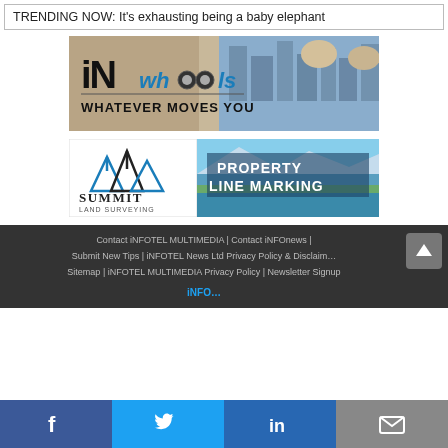TRENDING NOW: It's exhausting being a baby elephant
[Figure (illustration): iNwheels advertisement banner — car interior and city background with 'iN wheels WHATEVER MOVES YOU' text]
[Figure (illustration): Summit Land Surveying advertisement with mountain/lake background and 'PROPERTY LINE MARKING' text]
Contact iNFOTEL MULTIMEDIA | Contact iNFOnews | Submit New Tips | iNFOTEL News Ltd Privacy Policy & Disclaimer | Sitemap | iNFOTEL MULTIMEDIA Privacy Policy | Newsletter Signup